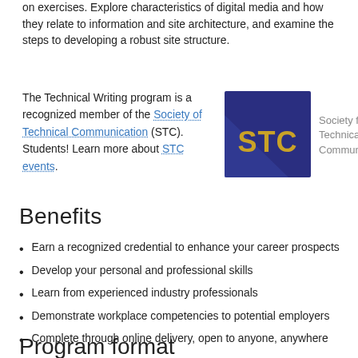on exercises. Explore characteristics of digital media and how they relate to information and site architecture, and examine the steps to developing a robust site structure.
The Technical Writing program is a recognized member of the Society of Technical Communication (STC). Students! Learn more about STC events.
[Figure (logo): Society for Technical Communication (STC) logo: dark blue square with gold 'STC' letters, beside text 'Society for Technical Communication']
Benefits
Earn a recognized credential to enhance your career prospects
Develop your personal and professional skills
Learn from experienced industry professionals
Demonstrate workplace competencies to potential employers
Complete through online delivery, open to anyone, anywhere
Program format